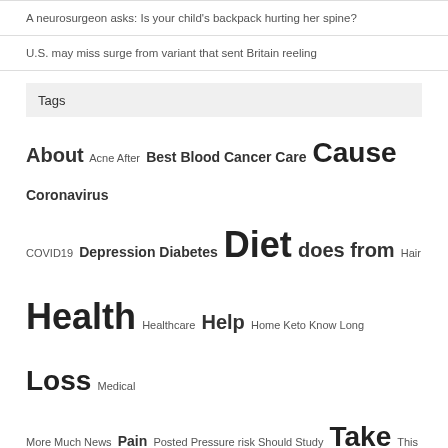A neurosurgeon asks: Is your child’s backpack hurting her spine?
U.S. may miss surge from variant that sent Britain reeling
Tags
About Acne After Best Blood Cancer Care Cause Coronavirus COVID19 Depression Diabetes Diet does from Hair Health Healthcare Help Home Keto Know Long Loss Medical More Much News Pain Posted Pressure risk Should Study Take This Tips treatment Vitamin Weight when Where with Yoga ‘What
enavody.eu, healthclue.eu, duplos.eu